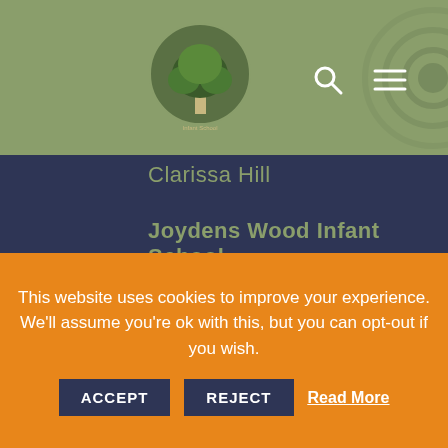[Figure (logo): Joydens Wood Infant School circular logo with tree illustration on green background]
Clarissa Hill
Joydens Wood Infant School
Park Way, Bexley
Kent DA5 2JD
view on map
Telephone: 01 322 523 188
Email: info@joydens.org
This website uses cookies to improve your experience. We'll assume you're ok with this, but you can opt-out if you wish.